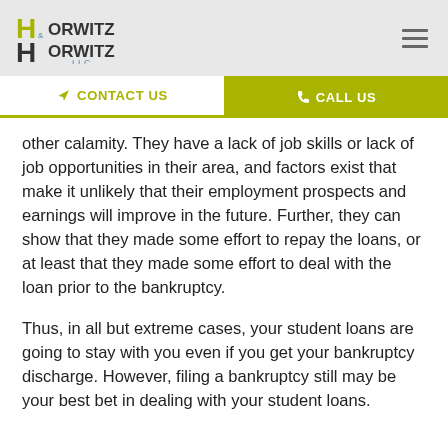[Figure (logo): Horwitz & Horwitz LLC law firm logo with stylized HH letters in olive green and dark gray]
CONTACT US   CALL US
other calamity.  They have a lack of job skills or lack of job opportunities in their area, and factors exist that make it unlikely that their employment prospects and earnings will improve in the future.  Further, they can show that they made some effort to repay the loans, or at least that they made some effort to deal with the loan prior to the bankruptcy.
Thus, in all but extreme cases, your student loans are going to stay with you even if you get your bankruptcy discharge.  However, filing a bankruptcy still may be your best bet in dealing with your student loans.